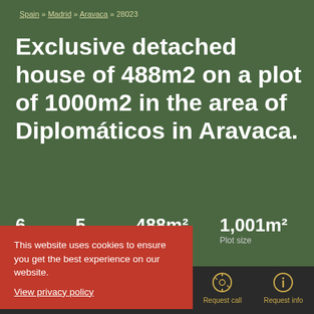Spain » Madrid » Aravaca » 28023
Exclusive detached house of 488m2 on a plot of 1000m2 in the area of Diplomáticos in Aravaca.
6   5   488m²  Floorplan   1,001m²  Plot size
This website uses cookies to ensure you get the best experience on our website. View privacy policy
Call us   WhatsApp   Request call   Request info